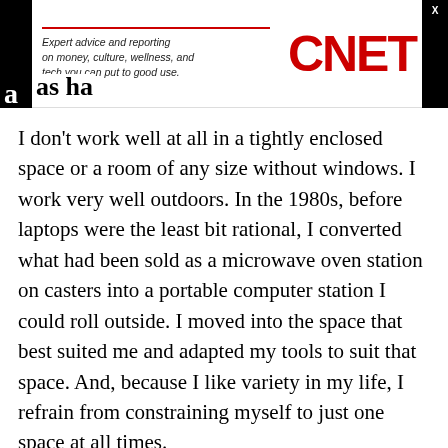[Figure (logo): CNET advertisement banner with red tagline bar, italic text 'Expert advice and reporting on money, culture, wellness, and tech you can put to good use.' and CNET logo in red bold letters, with black side panels and an X close button]
I don't work well at all in a tightly enclosed space or a room of any size without windows. I work very well outdoors. In the 1980s, before laptops were the least bit rational, I converted what had been sold as a microwave oven station on casters into a portable computer station I could roll outside. I moved into the space that best suited me and adapted my tools to suit that space. And, because I like variety in my life, I refrain from constraining myself to just one space at all times.
As an intellectual and creative worker, you should get into the habit of projecting your "office space"